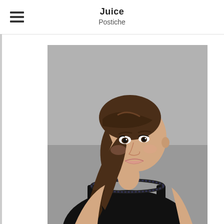Juice
Postiche
[Figure (photo): A young woman with brown hair styled in a ponytail with bangs, wearing a black spaghetti-strap top with beaded neckline, smiling at the camera against a gray background. The image appears to be a product photo showcasing a hairpiece or postiches.]